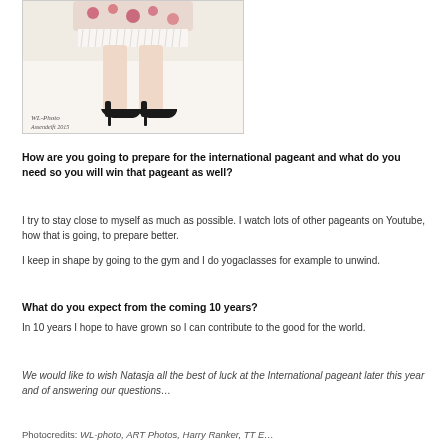[Figure (photo): Photo of a woman wearing a floral dress with fringe details and black high heels, watermarked with 'WL-Photo Assendelft 2015']
How are you going to prepare for the international pageant and what do you need so you will win that pageant as well?
I try to stay close to myself as much as possible. I watch lots of other pageants on Youtube, how that is going, to prepare better.
I keep in shape by going to the gym and I do yogaclasses for example to unwind.
What do you expect from the coming 10 years?
In 10 years I hope to have grown so I can contribute to the good for the world.
We would like to wish Natasja all the best of luck at the International pageant later this year and of answering our questions…
Photocredits: WL-photo, ART Photos, Harry Ranker, TT E...